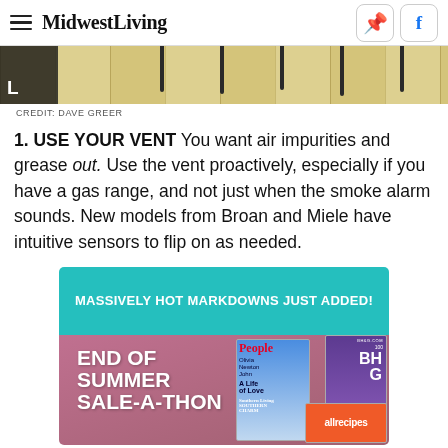MidwestLiving
[Figure (photo): Partial photo of wooden coat rack with black hooks, with dark box showing letter L in bottom left corner]
CREDIT: DAVE GREER
1. USE YOUR VENT You want air impurities and grease out. Use the vent proactively, especially if you have a gas range, and not just when the smoke alarm sounds. New models from Broan and Miele have intuitive sensors to flip on as needed.
[Figure (infographic): Advertisement banner: MASSIVELY HOT MARKDOWNS JUST ADDED! END OF SUMMER SALE-A-THON with magazine covers for People, BHG, Southern Living, and allrecipes]